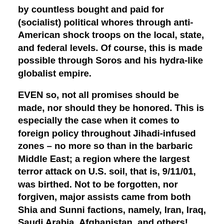by countless bought and paid for (socialist) political whores through anti-American shock troops on the local, state, and federal levels. Of course, this is made possible through Soros and his hydra-like globalist empire.
EVEN so, not all promises should be made, nor should they be honored. This is especially the case when it comes to foreign policy throughout Jihadi-infused zones – no more so than in the barbaric Middle East; a region where the largest terror attack on U.S. soil, that is, 9/11/01, was birthed. Not to be forgotten, nor forgiven, major assists came from both Shia and Sunni factions, namely, Iran, Iraq, Saudi Arabia, Afghanistan, and others!
STILL, yet, not to be lost in the quagmire, when it